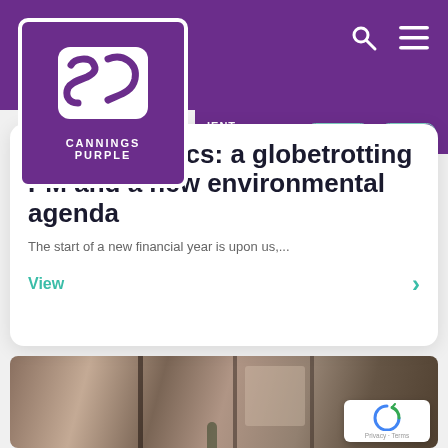Cannings Purple — Government Relations navigation header with logo, search and menu icons, Expertise and Experts pills
month in politics: a globetrotting PM and a new environmental agenda
The start of a new financial year is upon us,...
View
[Figure (photo): Group of people having a meeting around a table in a warmly lit room, semi-candid office/conference setting]